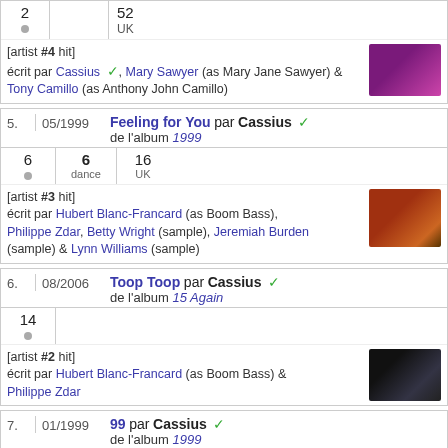| 2 |  | 52 | UK |
| [artist #4 hit] écrit par Cassius, Mary Sawyer (as Mary Jane Sawyer) & Tony Camillo (as Anthony John Camillo) |  |
| 5. | 05/1999 | Feeling for You par Cassius / de l'album 1999 |
| --- | --- | --- |
| 6 | 6 dance | 16 UK |
| [artist #3 hit] écrit par Hubert Blanc-Francard (as Boom Bass), Philippe Zdar, Betty Wright (sample), Jeremiah Burden (sample) & Lynn Williams (sample) |  |
| 6. | 08/2006 | Toop Toop par Cassius / de l'album 15 Again |
| --- | --- | --- |
| 14 |  |  |
| [artist #2 hit] écrit par Hubert Blanc-Francard (as Boom Bass) & Philippe Zdar |  |
| 7. | 01/1999 | 99 par Cassius / de l'album 1999 |
| --- | --- | --- |
| 34 | 8 dance | 7 UK |
| [artist #1 hit] |  |